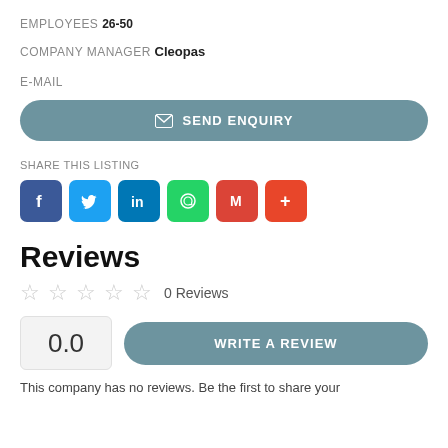EMPLOYEES 26-50
COMPANY MANAGER Cleopas
E-MAIL
[Figure (other): Send Enquiry button with envelope icon]
SHARE THIS LISTING
[Figure (other): Social sharing icons: Facebook, Twitter, LinkedIn, WhatsApp, Gmail, More]
Reviews
0 Reviews
0.0
[Figure (other): Write a Review button]
This company has no reviews. Be the first to share your